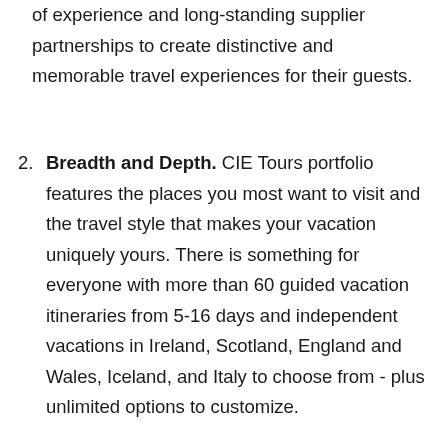of experience and long-standing supplier partnerships to create distinctive and memorable travel experiences for their guests.
Breadth and Depth. CIE Tours portfolio features the places you most want to visit and the travel style that makes your vacation uniquely yours. There is something for everyone with more than 60 guided vacation itineraries from 5-16 days and independent vacations in Ireland, Scotland, England and Wales, Iceland, and Italy to choose from - plus unlimited options to customize.